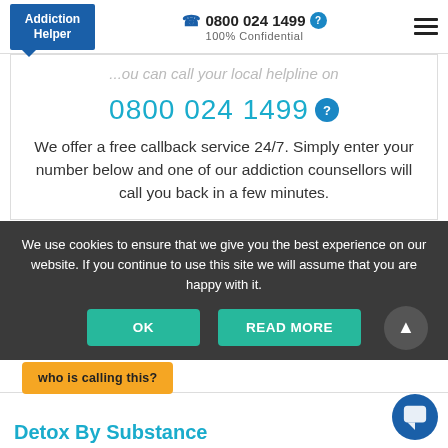Addiction Helper | 0800 024 1499 | 100% Confidential
...ou can call your local helpline on
0800 024 1499
We offer a free callback service 24/7. Simply enter your number below and one of our addiction counsellors will call you back in a few minutes.
We use cookies to ensure that we give you the best experience on our website. If you continue to use this site we will assume that you are happy with it.
OK
READ MORE
Detox By Substance